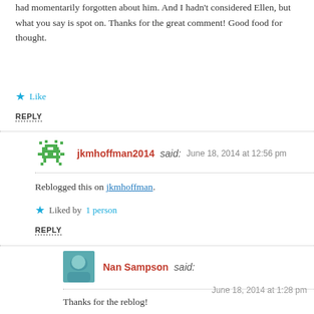had momentarily forgotten about him. And I hadn't considered Ellen, but what you say is spot on. Thanks for the great comment! Good food for thought.
★ Like
REPLY
jkmhoffman2014 said: June 18, 2014 at 12:56 pm
Reblogged this on jkmhoffman.
★ Liked by 1 person
REPLY
Nan Sampson said: June 18, 2014 at 1:28 pm
Thanks for the reblog!
★ Like